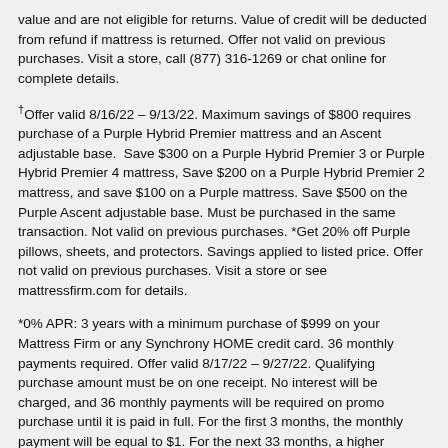value and are not eligible for returns. Value of credit will be deducted from refund if mattress is returned. Offer not valid on previous purchases. Visit a store, call (877) 316-1269 or chat online for complete details.
†Offer valid 8/16/22 – 9/13/22. Maximum savings of $800 requires purchase of a Purple Hybrid Premier mattress and an Ascent adjustable base. Save $300 on a Purple Hybrid Premier 3 or Purple Hybrid Premier 4 mattress, Save $200 on a Purple Hybrid Premier 2 mattress, and save $100 on a Purple mattress. Save $500 on the Purple Ascent adjustable base. Must be purchased in the same transaction. Not valid on previous purchases. *Get 20% off Purple pillows, sheets, and protectors. Savings applied to listed price. Offer not valid on previous purchases. Visit a store or see mattressfirm.com for details.
*0% APR: 3 years with a minimum purchase of $999 on your Mattress Firm or any Synchrony HOME credit card. 36 monthly payments required. Offer valid 8/17/22 – 9/27/22. Qualifying purchase amount must be on one receipt. No interest will be charged, and 36 monthly payments will be required on promo purchase until it is paid in full. For the first 3 months, the monthly payment will be equal to $1. For the next 33 months, a higher monthly payment will be required equal to any remaining promo purchase balance divided by the number of months remaining in the applicable promo period, rounded up to the next whole dollar. Except for the first 3 months, these payments may be higher than